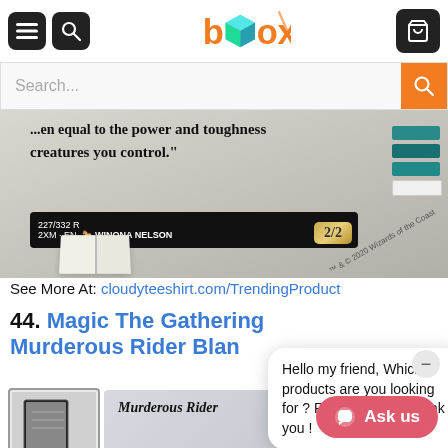box (logo) - navigation header with menu, search, and cart buttons
[Figure (screenshot): Search bar with orange search button]
[Figure (photo): Magic The Gathering blanket product photo showing card text: 'equal to the power and toughness creatures you control.' 227/332 R 2XM EN Winona Nelson, 2/2 badge, with open book and teal books in background]
See More At: cloudyteeshirt.com/TrendingProduct
44. Magic The Gathering Murderous Rider Blan...
Hello my friend, Which products are you looking for ? Please text us.Thank you !
[Figure (photo): Product thumbnail showing black and white framed art and Murderous Rider card blanket]
Murderous Rider
Ask us